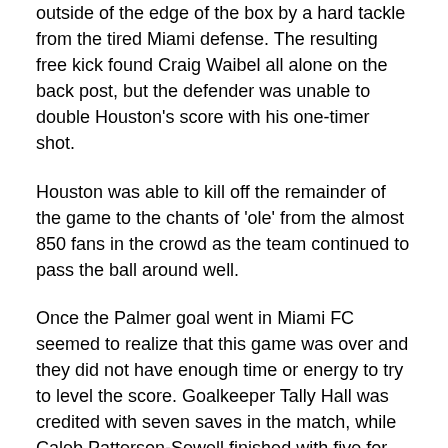outside of the edge of the box by a hard tackle from the tired Miami defense. The resulting free kick found Craig Waibel all alone on the back post, but the defender was unable to double Houston's score with his one-timer shot.
Houston was able to kill off the remainder of the game to the chants of 'ole' from the almost 850 fans in the crowd as the team continued to pass the ball around well.
Once the Palmer goal went in Miami FC seemed to realize that this game was over and they did not have enough time or energy to try to level the score. Goalkeeper Tally Hall was credited with seven saves in the match, while Caleb Patterson-Sewell finished with five for Miami.